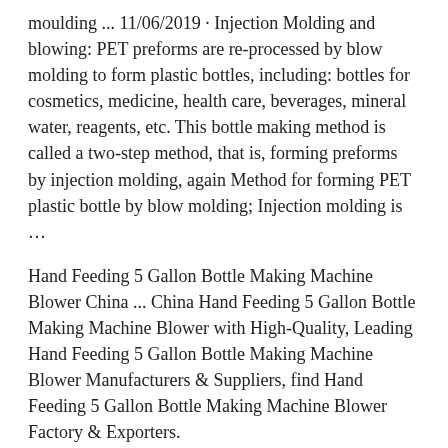moulding ... 11/06/2019 · Injection Molding and blowing: PET preforms are re-processed by blow molding to form plastic bottles, including: bottles for cosmetics, medicine, health care, beverages, mineral water, reagents, etc. This bottle making method is called a two-step method, that is, forming preforms by injection molding, again Method for forming PET plastic bottle by blow molding; Injection molding is …
Hand Feeding 5 Gallon Bottle Making Machine Blower China ... China Hand Feeding 5 Gallon Bottle Making Machine Blower with High-Quality, Leading Hand Feeding 5 Gallon Bottle Making Machine Blower Manufacturers & Suppliers, find Hand Feeding 5 Gallon Bottle Making Machine Blower Factory & Exporters.
Pet Stretch Blow Molding Machine Semi-Automatic Pet ... Quality Pet Stretch Blow Molding Machine Semi-